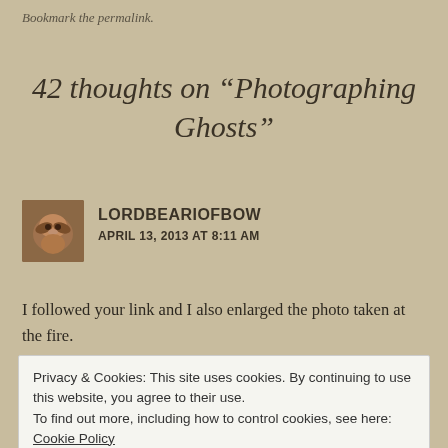Bookmark the permalink.
42 thoughts on “Photographing Ghosts”
LORDBEARIOFBOW
APRIL 13, 2013 AT 8:11 AM
I followed your link and I also enlarged the photo taken at the fire.
Privacy & Cookies: This site uses cookies. By continuing to use this website, you agree to their use.
To find out more, including how to control cookies, see here: Cookie Policy
Close and accept
Whether or not I still believe in them tomorrow morning